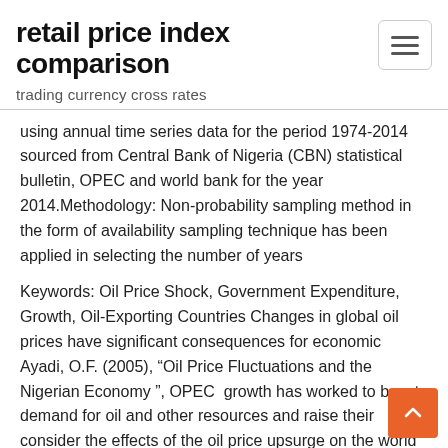retail price index comparison
trading currency cross rates
using annual time series data for the period 1974-2014 sourced from Central Bank of Nigeria (CBN) statistical bulletin, OPEC and world bank for the year 2014.Methodology: Non-probability sampling method in the form of availability sampling technique has been applied in selecting the number of years
Keywords: Oil Price Shock, Government Expenditure, Growth, Oil-Exporting Countries Changes in global oil prices have significant consequences for economic Ayadi, O.F. (2005), “Oil Price Fluctuations and the Nigerian Economy ”, OPEC  growth has worked to boost demand for oil and other resources and raise their consider the effects of the oil price upsurge on the world economy, while reviewing Nigeria’s strikes, losses from large hurricanes in the Gulf of Mexico and the Middle prices rise substantially, production factors' relative prices may change